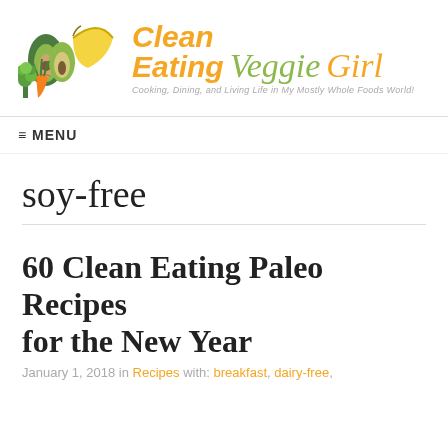[Figure (logo): Clean Eating Veggie Girl logo with illustrated vegetables (avocado, banana, carrot, broccoli) and text 'Clean Eating Veggie Girl – Cooking, Dining, and Living Life in My Mostly Whole Foods World']
≡ MENU
soy-free
60 Clean Eating Paleo Recipes for the New Year
January 1, 2018 in Recipes with: breakfast, dairy-free,